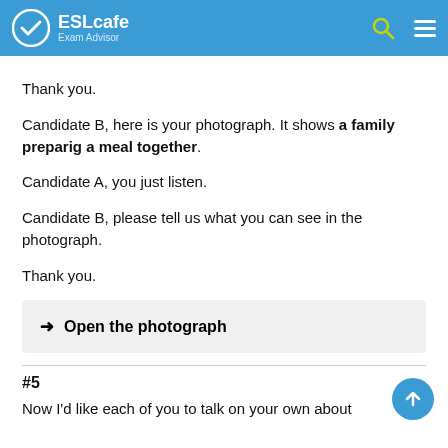ESLcafe Exam Advisor
Thank you.
Candidate B, here is your photograph. It shows a family preparig a meal together.
Candidate A, you just listen.
Candidate B, please tell us what you can see in the photograph.
Thank you.
→ Open the photograph
#5
Now I'd like each of you to talk on your own about